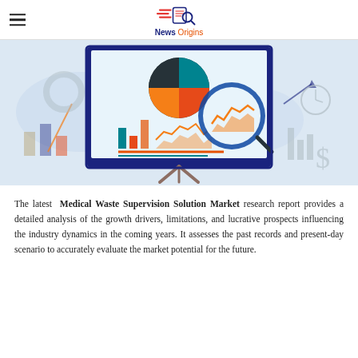News Origins
[Figure (illustration): Market research illustration showing a presentation board with pie chart, bar charts, magnifying glass, and financial data graphics against a light blue background]
The latest Medical Waste Supervision Solution Market research report provides a detailed analysis of the growth drivers, limitations, and lucrative prospects influencing the industry dynamics in the coming years. It assesses the past records and present-day scenario to accurately evaluate the market potential for the future.